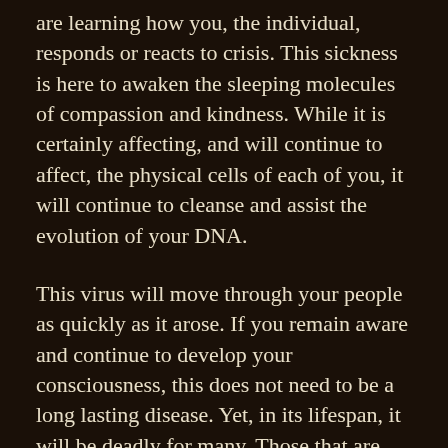are learning how you, the individual, responds or reacts to crisis. This sickness is here to awaken the sleeping molecules of compassion and kindness. While it is certainly affecting, and will continue to affect, the physical cells of each of you, it will continue to cleanse and assist the evolution of your DNA.
This virus will move through your people as quickly as it arose. If you remain aware and continue to develop your consciousness, this does not need to be a long lasting disease. Yet, in its lifespan, it will be deadly for many. Those that are the most vulnerable, both physically and emotionally, will be the most affected. The physically vulnerable are either those that suffer from emotional scaring that has translated into the physical by manifested diseases or those at the close of their lifetimes. This latter group will